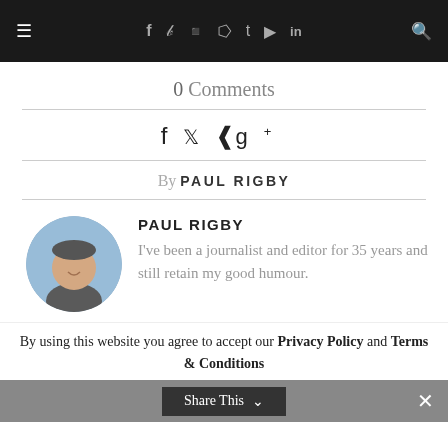≡  f  ⓣ  ⓟ  t  ▶  in  🔍
0 Comments
[Figure (infographic): Social share icons: facebook (f), twitter (bird), pinterest (p), google plus (g+)]
By PAUL RIGBY
[Figure (photo): Circular profile photo of Paul Rigby, a man smiling outdoors]
PAUL RIGBY
I've been a journalist and editor for 35 years and still retain my good humour.
By using this website you agree to accept our Privacy Policy and Terms & Conditions
Share This  ✕